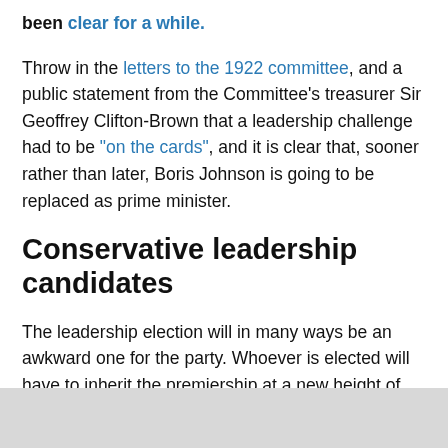been clear for a while.

Throw in the letters to the 1922 committee, and a public statement from the Committee's treasurer Sir Geoffrey Clifton-Brown that a leadership challenge had to be "on the cards", and it is clear that, sooner rather than later, Boris Johnson is going to be replaced as prime minister.
Conservative leadership candidates
The leadership election will in many ways be an awkward one for the party. Whoever is elected will have to inherit the premiership at a new height of the pandemic, with numerous inquiries ongoing and a fractious and unpopular